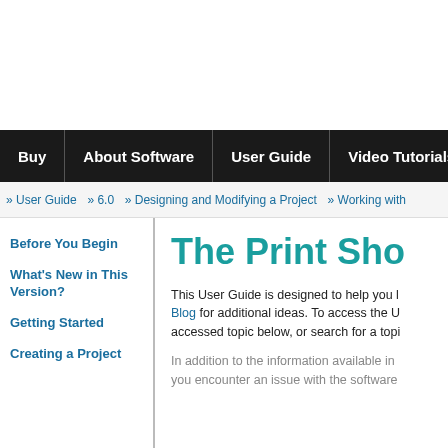Buy | About Software | User Guide | Video Tutorials
» User Guide  » 6.0  » Designing and Modifying a Project  » Working with
Before You Begin
What's New in This Version?
Getting Started
Creating a Project
The Print Sho
This User Guide is designed to help you Blog for additional ideas. To access the U accessed topic below, or search for a topi
In addition to the information available in you encounter an issue with the software